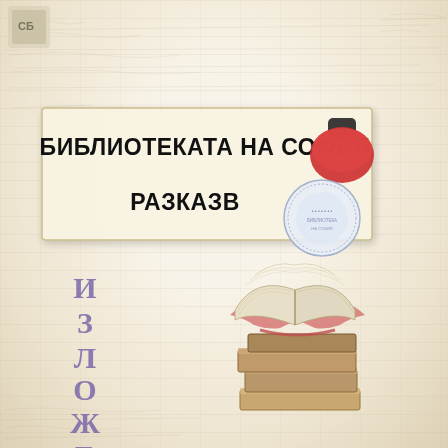[Figure (illustration): Book cover / exhibition poster page with aged paper background, faint handwritten text texture. Contains a placard/sign reading 'БИБЛИОТЕКАТА НА СОФИЯ' and 'РАЗКАЗВА' with a red rubber stamp overlapping the sign. On the lower left, vertical Cyrillic letters spell И З Л О Ж Б А (ИЗЛОЖБА / Exhibition). On the lower right, an illustration of a stack of old books with an open book on top, tied with a ribbon.]